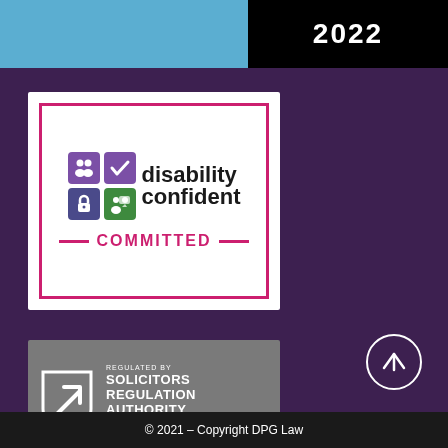[Figure (logo): Top banner with blue section on left and black section on right showing '2022']
[Figure (logo): Disability Confident Committed badge - pink bordered white badge with coloured icons and text reading 'disability confident COMMITTED']
[Figure (logo): Solicitors Regulation Authority badge - grey badge with shield icon and text 'REGULATED BY SOLICITORS REGULATION AUTHORITY ▶ LEARN MORE 29 AUG 2022']
[Figure (other): Circle with upward arrow button]
© 2021 – Copyright DPG Law